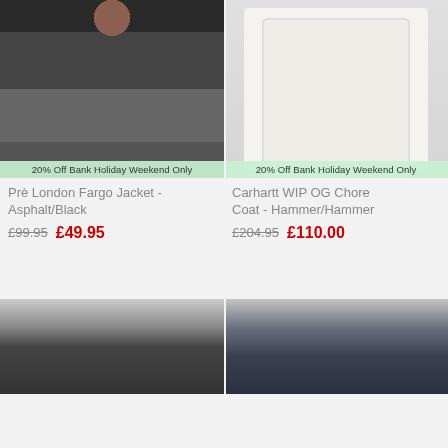[Figure (photo): Man wearing Prè London Fargo Jacket in Asphalt/Black colorway with fur-trimmed hood, logo on chest]
20% Off Bank Holiday Weekend Only
Prè London Fargo Jacket - Asphalt/Black
£99.95  £49.95
[Figure (photo): Carhartt WIP OG Chore Coat in Hammer/Hammer colorway, off-white/cream color, laid flat]
20% Off Bank Holiday Weekend Only
Carhartt WIP OG Chore Coat - Hammer/Hammer
£204.95  £110.00
[Figure (photo): Dark jacket product photo, partially visible at bottom of page]
[Figure (photo): Dark navy/denim jacket product photo, partially visible at bottom of page]